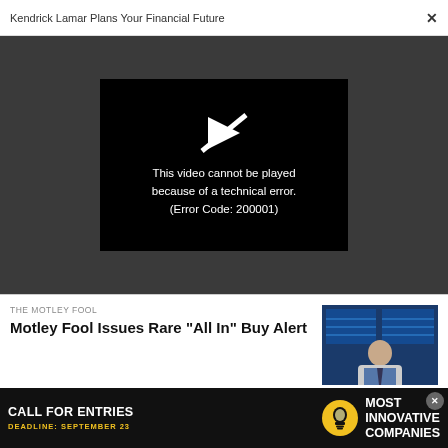Kendrick Lamar Plans Your Financial Future  ×
[Figure (screenshot): Video player showing a black screen with a broken play button icon and error message: 'This video cannot be played because of a technical error. (Error Code: 200001)']
This video cannot be played because of a technical error. (Error Code: 200001)
THE MOTLEY FOOL
Motley Fool Issues Rare "All In" Buy Alert
[Figure (photo): A man in a suit with stock market screens in the background]
[Figure (infographic): Advertisement banner: CALL FOR ENTRIES / DEADLINE: SEPTEMBER 23 / lightbulb icon / Most Innovative Companies]